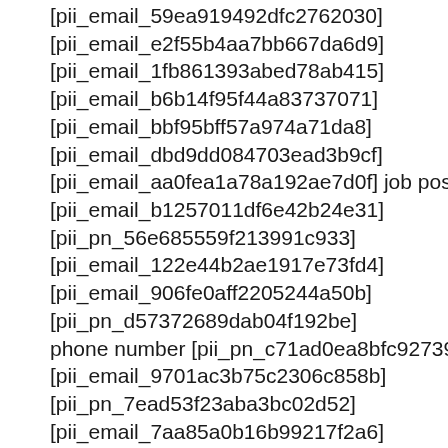[pii_email_59ea919492dfc2762030]
[pii_email_e2f55b4aa7bb667da6d9]
[pii_email_1fb861393abed78ab415]
[pii_email_b6b14f95f44a83737071]
[pii_email_bbf95bff57a974a71da8]
[pii_email_dbd9dd084703ead3b9cf]
[pii_email_aa0fea1a78a192ae7d0f] job postings
[pii_email_b1257011df6e42b24e31]
[pii_pn_56e685559f213991c933]
[pii_email_122e44b2ae1917e73fd4]
[pii_email_906fe0aff2205244a50b]
[pii_pn_d57372689dab04f192be]
phone number [pii_pn_c71ad0ea8bfc927396e9]
[pii_email_9701ac3b75c2306c858b]
[pii_pn_7ead53f23aba3bc02d52]
[pii_email_7aa85a0b16b99217f2a6]